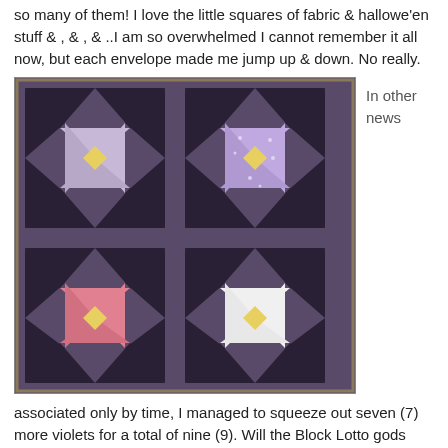so many of them!  I love the little squares of fabric & hallowe'en stuff & ,  & ,  & ..I am so overwhelmed I cannot remember it all now, but each envelope made me jump up & down.  No really.
[Figure (photo): Photograph of four quilt blocks arranged in a 2x2 grid. Each block shows a pinwheel/flower pattern. Top-left block is lavender/purple gingham with yellow center on dark background. Top-right block is purple with white dots and yellow center on dark background. Bottom-left block is red/pink floral print with yellow center on dark background. Bottom-right block is white with yellow center on dark background.]
In other news
associated only by time, I managed to squeeze out seven (7) more violets for a total of nine (9).  Will the Block Lotto gods strike twice in a row?  Maybe if I explain to them how very insane it has been, ripping out my old kitchen (saying good-